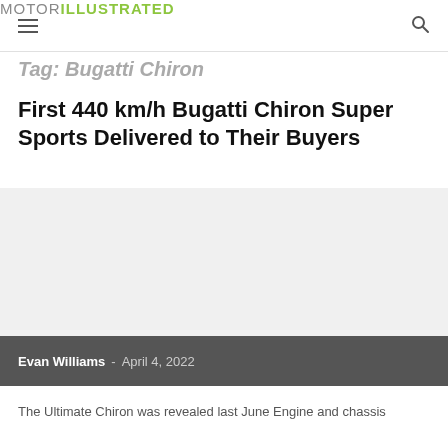MOTOR ILLUSTRATED
Tag: Bugatti Chiron
First 440 km/h Bugatti Chiron Super Sports Delivered to Their Buyers
[Figure (photo): Image placeholder area for Bugatti Chiron Super Sport article]
Evan Williams - April 4, 2022
The Ultimate Chiron was revealed last June Engine and chassis